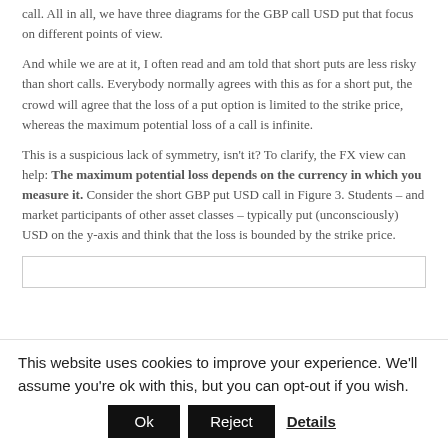call. All in all, we have three diagrams for the GBP call USD put that focus on different points of view.
And while we are at it, I often read and am told that short puts are less risky than short calls. Everybody normally agrees with this as for a short put, the crowd will agree that the loss of a put option is limited to the strike price, whereas the maximum potential loss of a call is infinite.
This is a suspicious lack of symmetry, isn’t it? To clarify, the FX view can help: The maximum potential loss depends on the currency in which you measure it. Consider the short GBP put USD call in Figure 3. Students – and market participants of other asset classes – typically put (unconsciously) USD on the y-axis and think that the loss is bounded by the strike price.
[Figure (other): Partial figure stub visible at bottom of content area]
This website uses cookies to improve your experience. We'll assume you're ok with this, but you can opt-out if you wish.